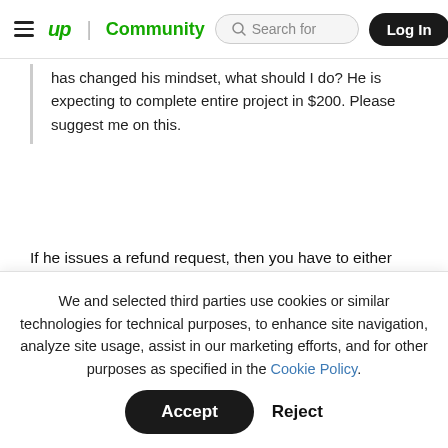up | Community   Search for   Log In
has changed his mindset, what should I do? He is expecting to complete entire project in $200. Please suggest me on this.
If he issues a refund request, then you have to either accept or dispute it and then you go into mediation.
We and selected third parties use cookies or similar technologies for technical purposes, to enhance site navigation, analyze site usage, assist in our marketing efforts, and for other purposes as specified in the Cookie Policy.
Accept
Reject